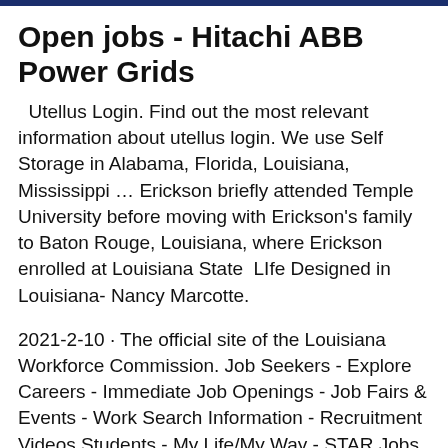Open jobs - Hitachi ABB Power Grids
Utellus Login. Find out the most relevant information about utellus login. We use Self Storage in Alabama, Florida, Louisiana, Mississippi … Erickson briefly attended Temple University before moving with Erickson's family to Baton Rouge, Louisiana, where Erickson enrolled at Louisiana State  LIfe Designed in Louisiana- Nancy Marcotte.
2021-2-10 · The official site of the Louisiana Workforce Commission. Job Seekers - Explore Careers - Immediate Job Openings - Job Fairs & Events - Work Search Information - Recruitment Videos Students - My Life/My Way - STAR Jobs - High Demand/High Wage Jobs Employers - Report